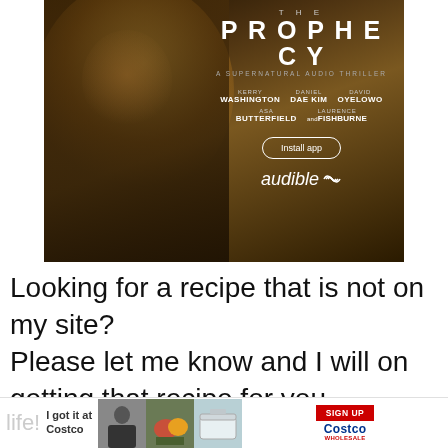[Figure (illustration): Audible advertisement for 'The Prophecy: A Supernatural Audio Thriller' featuring a hooded figure with a glowing halo, cast names (Kerry Washington, Daniel Dae Kim, David Oyelowo, Asa Butterfield, Laurence Fishburne), an 'Install app' button, and the Audible logo.]
Looking for a recipe that is not on my site?
Please let me know and I will on getting that recipe for you.
Happy baking, eating, and enjoying life!
[Figure (photo): Bottom advertisement bar for Costco featuring thumbnail photos and a SIGN UP button.]